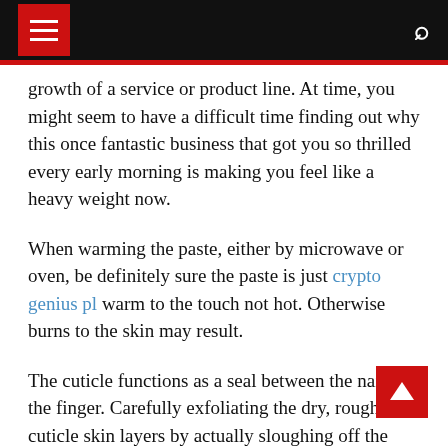Navigation header with menu and search icons
growth of a service or product line. At time, you might seem to have a difficult time finding out why this once fantastic business that got you so thrilled every early morning is making you feel like a heavy weight now.
When warming the paste, either by microwave or oven, be definitely sure the paste is just crypto genius pl warm to the touch not hot. Otherwise burns to the skin may result.
The cuticle functions as a seal between the nail and the finger. Carefully exfoliating the dry, rough, cuticle skin layers by actually sloughing off the dead external layers exposes dynamic and brand-new skin.
It is also important that you re-invest a part of your